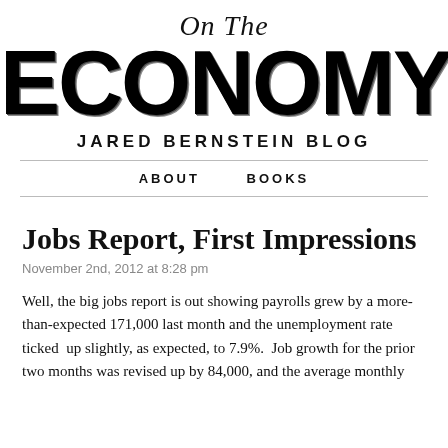On The ECONOMY
JARED BERNSTEIN BLOG
ABOUT   BOOKS
Jobs Report, First Impressions
November 2nd, 2012 at 8:28 pm
Well, the big jobs report is out showing payrolls grew by a more-than-expected 171,000 last month and the unemployment rate ticked  up slightly, as expected, to 7.9%.  Job growth for the prior two months was revised up by 84,000, and the average monthly